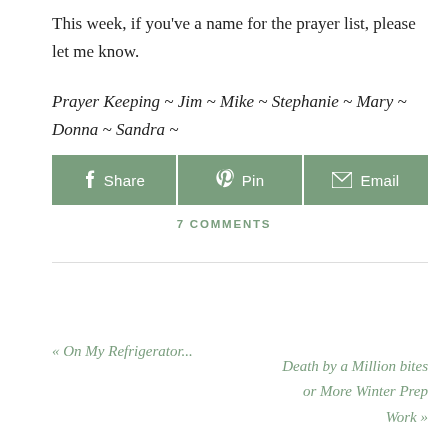This week, if you’ve a name for the prayer list, please let me know.
Prayer Keeping ~ Jim ~ Mike ~ Stephanie ~ Mary ~ Donna ~ Sandra ~
[Figure (other): Social sharing buttons: Share (Facebook), Pin (Pinterest), Email]
7 COMMENTS
« On My Refrigerator...
Death by a Million bites or More Winter Prep Work »